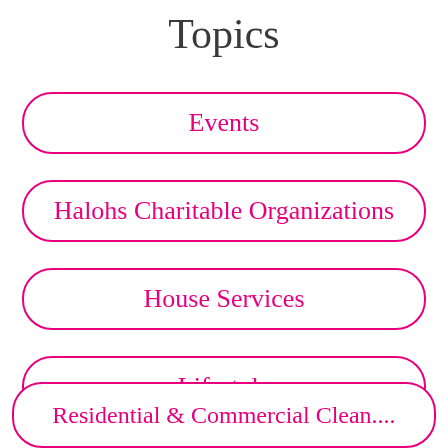Topics
Events
Halohs Charitable Organizations
House Services
Lifestyle
Residential & Commercial Clean....